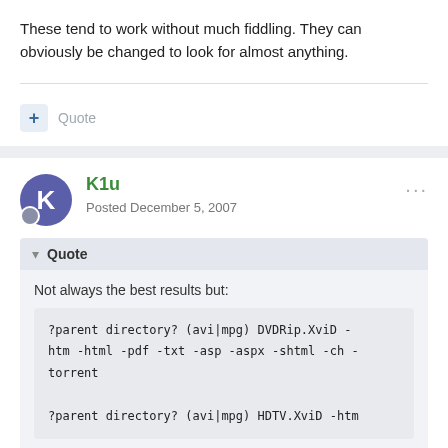These tend to work without much fiddling. They can obviously be changed to look for almost anything.
Quote
K1u
Posted December 5, 2007
Quote
Not always the best results but:
?parent directory? (avi|mpg) DVDRip.XviD -htm -html -pdf -txt -asp -aspx -shtml -ch -torrent

?parent directory? (avi|mpg) HDTV.XviD -htm